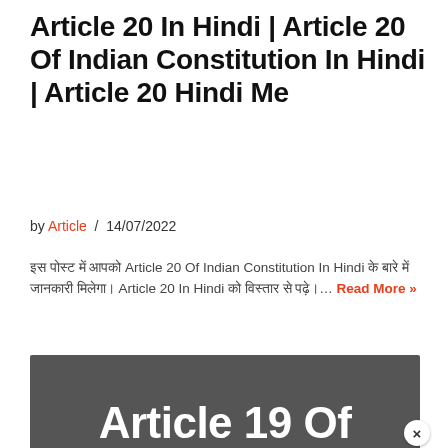Article 20 In Hindi | Article 20 Of Indian Constitution In Hindi | Article 20 Hindi Me
by Article / 14/07/2022
इस पोस्ट में आपको Article 20 Of Indian Constitution In Hindi के बारे में जानकारी मिलेगा। Article 20 In Hindi को विस्तार से पढ़े।… Read More »
[Figure (other): Dark grey banner image with large white bold text reading 'Article 19 Of', partially cropped, with a white circular close button (×) in the bottom right corner]